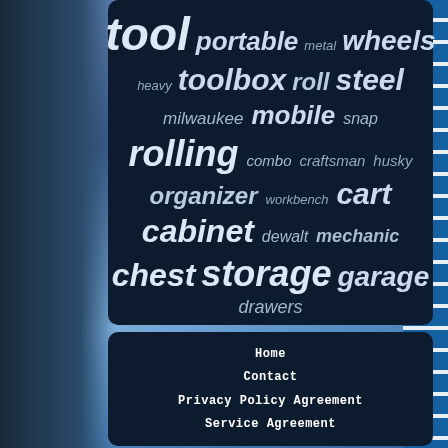[Figure (photo): Background photo of blue metal tool cabinet/chest with drawer handles, blurred, with dark left side visible]
[Figure (infographic): Word cloud on dark navy background with tool storage related keywords in varying sizes: tool, portable, metal, wheels, heavy, toolbox, roll, steel, milwaukee, mobile, snap, rolling, combo, craftsman, husky, organizer, workbench, cart, cabinet, dewalt, mechanic, chest, storage, garage, drawers]
Home
Contact
Privacy Policy Agreement
Service Agreement